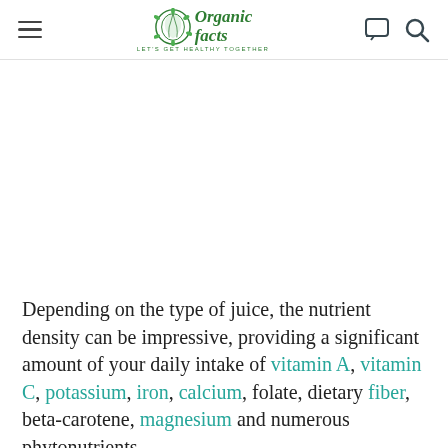Organic Facts — LET'S GET HEALTHY TOGETHER
[Figure (other): Advertisement / blank space area]
Depending on the type of juice, the nutrient density can be impressive, providing a significant amount of your daily intake of vitamin A, vitamin C, potassium, iron, calcium, folate, dietary fiber, beta-carotene, magnesium and numerous phytonutrients.